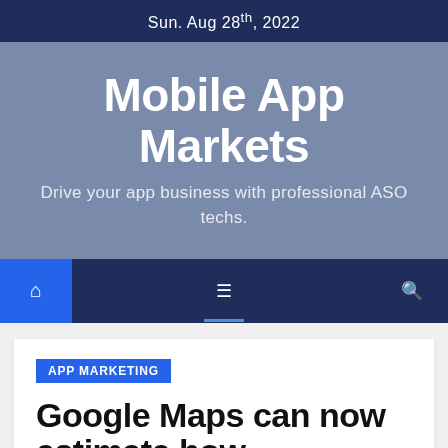Sun. Aug 28th, 2022
Mobile App Markets
Drive your app business with professional ASO techs.
APP MARKETING
Google Maps can now estimate how